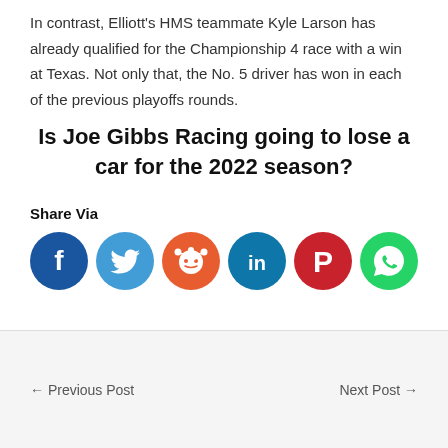In contrast, Elliott's HMS teammate Kyle Larson has already qualified for the Championship 4 race with a win at Texas. Not only that, the No. 5 driver has won in each of the previous playoffs rounds.
Is Joe Gibbs Racing going to lose a car for the 2022 season?
Share Via
[Figure (infographic): Social media share icons: Facebook (dark blue circle with f), Twitter (light blue circle with bird), Reddit (orange circle with alien mascot), LinkedIn (dark teal circle with in), Pinterest (red circle with P), WhatsApp (green circle with phone)]
← Previous Post
Next Post →